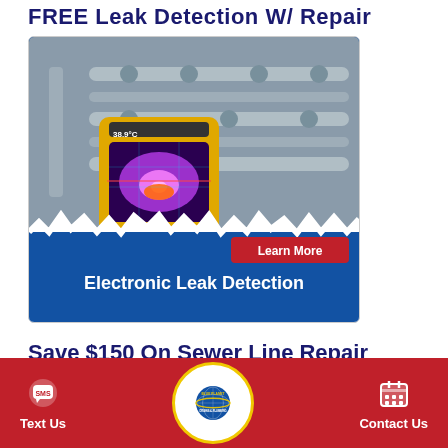FREE Leak Detection W/ Repair
[Figure (photo): Advertisement card showing a thermal imaging camera being held up to metal pipes. Blue background with torn paper effect. Contains 'Learn More' button in red and 'Electronic Leak Detection' text in white at the bottom.]
Save $150 On Sewer Line Repair
Text Us | Blue Planet Drains & Plumbing | Contact Us